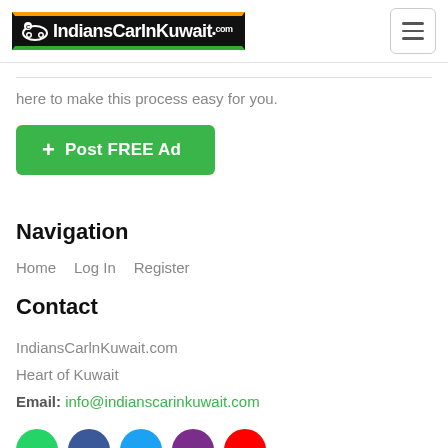IndiansCarInKuwait.com
here to make this process easy for you.
[Figure (other): Green Post FREE Ad button with plus icon]
Navigation
Home   Log In   Register
Contact
IndiansCarInKuwait.com
Heart of Kuwait
Email: info@indianscarinkuwait.com
[Figure (other): Row of social media icon circles: green, blue (Facebook), blue (Twitter), purple, red (YouTube)]